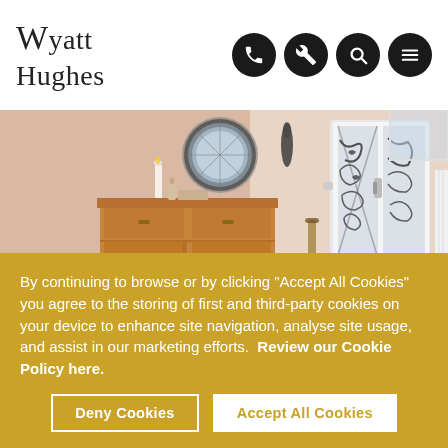Wyatt Hughes
[Figure (photo): Interior hallway photo showing a wooden sideboard/dresser, a circular ornate mirror on the wall, a decorative glass-panelled front door with ironwork design, and a small doormat on the floor. Walls are pale pink.]
By continuing to browse or by clicking “Accept All Cookies” you agree to the storing of first and third-party cookies on your device to enhance site navigation, analyse site usage, and assist in our marketing efforts.  Review our Cookie Policy here.